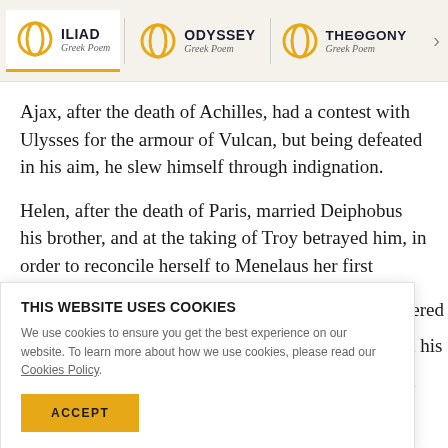ILIAD Greek Poem | ODYSSEY Greek Poem | THEOGONY Greek Poem
Ajax, after the death of Achilles, had a contest with Ulysses for the armour of Vulcan, but being defeated in his aim, he slew himself through indignation.
Helen, after the death of Paris, married Deiphobus his brother, and at the taking of Troy betrayed him, in order to reconcile herself to Menelaus her first
THIS WEBSITE USES COOKIES
We use cookies to ensure you get the best experience on our website. To learn more about how we use cookies, please read our Cookies Policy.
ACCEPT
Di...d...f...d...f...ll...f...T...............ll...d...bi...